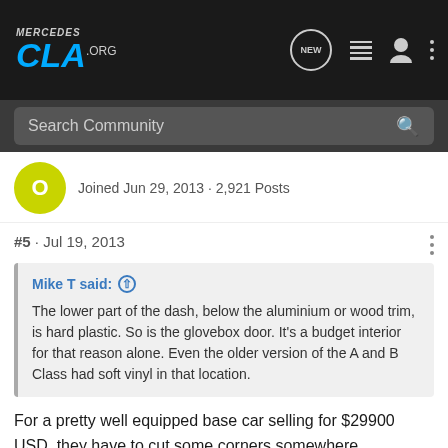MercedesCLA.org
Search Community
Joined Jun 29, 2013 · 2,921 Posts
#5 · Jul 19, 2013
Mike T said: The lower part of the dash, below the aluminium or wood trim, is hard plastic. So is the glovebox door. It's a budget interior for that reason alone. Even the older version of the A and B Class had soft vinyl in that location.
For a pretty well equipped base car selling for $29900 USD, they have to cut some corners somewhere.
The 2012 and later lower end cars are really much better than the earlier ones.
My only concern is the quality of the aluminum piece as I am